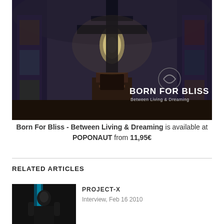[Figure (photo): Album cover photo showing a dark church interior with a large cross in the center, ornate iconostasis walls, a window with light, and text overlay reading 'BORN FOR BLISS / Between Living & Dreaming' with a circular wave logo]
Born For Bliss - Between Living & Dreaming is available at POPONAUT from 11,95€
RELATED ARTICLES
[Figure (photo): Thumbnail photo for related article showing a person with dramatic lighting against dark background]
PROJECT-X
Interview, Feb 16 2010